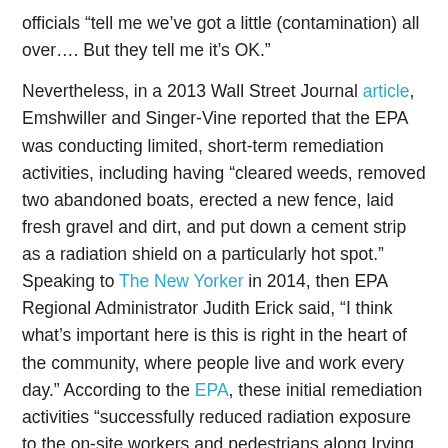officials “tell me we’ve got a little (contamination) all over…. But they tell me it’s OK.”
Nevertheless, in a 2013 Wall Street Journal article, Emshwiller and Singer-Vine reported that the EPA was conducting limited, short-term remediation activities, including having “cleared weeds, removed two abandoned boats, erected a new fence, laid fresh gravel and dirt, and put down a cement strip as a radiation shield on a particularly hot spot.”  Speaking to The New Yorker in 2014, then EPA Regional Administrator Judith Erick said, “I think what’s important here is this is right in the heart of the community, where people live and work every day.” According to the EPA, these initial remediation activities “successfully reduced radiation exposure to the on-site workers and pedestrians along Irving Avenue to within acceptable annual limitations.” Its “2013 Multi-Agency Former Wolff-Alport Chemical Company Neighborhood Radiological Assessment concluded that there was no off-